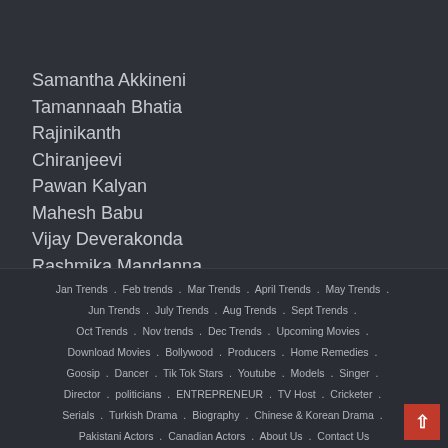Samantha Akkineni
Tamannaah Bhatia
Rajinikanth
Chiranjeevi
Pawan Kalyan
Mahesh Babu
Vijay Deverakonda
Rashmika Mandanna
Jan Trends . Feb trends . Mar Trends . April Trends . May Trends . Jun Trends . July Trends . Aug Trends . Sept Trends . Oct Trends . Nov trends . Dec Trends . Upcoming Movies . Download Movies . Bollywood . Producers . Home Remedies . Goosip . Dancer . Tik Tok Stars . Youtube . Models . Singer . Director . politicians . ENTREPRENEUR . TV Host . Cricketer . Serials . Turkish Drama . Biography . Chinese & Korean Drama . Pakistani Actors . Canadian Actors . About Us . Contact Us